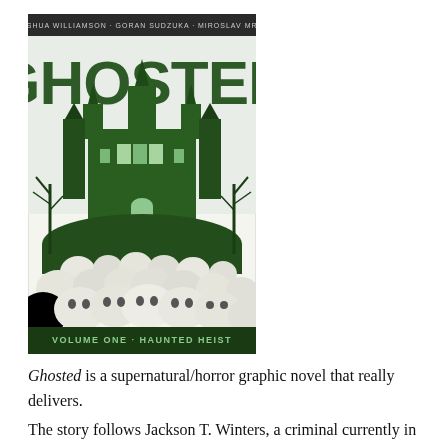[Figure (illustration): Book cover of 'Ghosted Volume One: Haunted Heist' by Joshua Williamson and Goran Sudzuka. Dark green and white illustration showing a haunted mansion with skulls piled in front. The title GHOSTED is in large distressed letters at the top.]
Ghosted is a supernatural/horror graphic novel that really delivers.
The story follows Jackson T. Winters, a criminal currently in prison.  Winters is busted out of prison by a female gun-